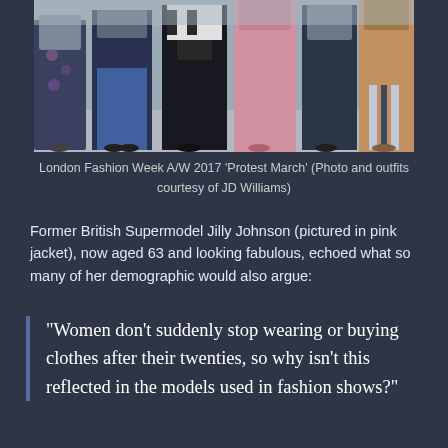[Figure (photo): Group of women walking at London Fashion Week A/W 2017 Protest March, wearing various outfits including floral dress, blue dress, black skirt, and striped trousers]
London Fashion Week A/W 2017 'Protest March' (Photo and outfits courtesy of JD Williams)
Former British Supermodel Jilly Johnson (pictured in pink jacket), now aged 63 and looking fabulous, echoed what so many of her demographic would also argue:
“Women don’t suddenly stop wearing or buying clothes after their twenties, so why isn’t this reflected in the models used in fashion shows?”
“We’ve started to be more inclusive when